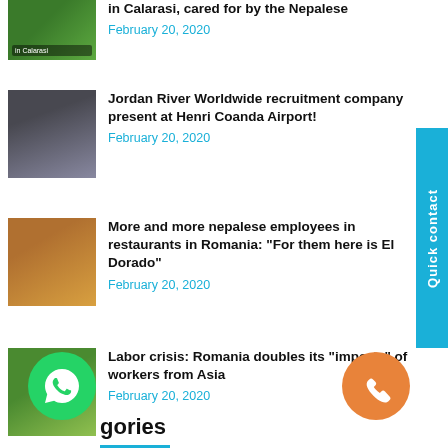in Calarasi, cared for by the Nepalese
February 20, 2020
Jordan River Worldwide recruitment company present at Henri Coanda Airport!
February 20, 2020
More and more nepalese employees in restaurants in Romania: “For them here is El Dorado”
February 20, 2020
Labor crisis: Romania doubles its “imports” of workers from Asia
February 20, 2020
gories